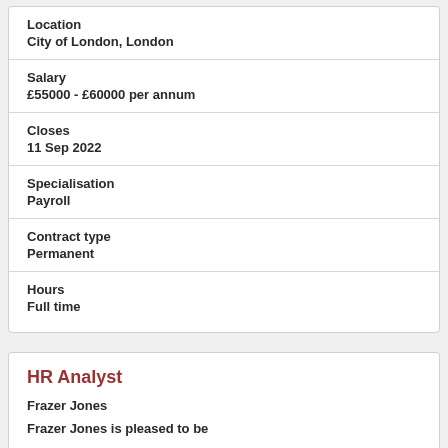Location
City of London, London
Salary
£55000 - £60000 per annum
Closes
11 Sep 2022
Specialisation
Payroll
Contract type
Permanent
Hours
Full time
HR Analyst
Frazer Jones
Frazer Jones is pleased to be